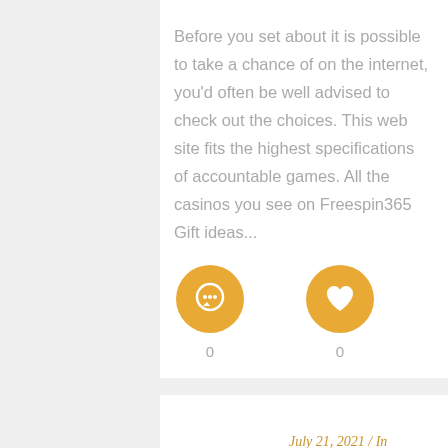Before you set about it is possible to take a chance of on the internet, you'd often be well advised to check out the choices. This web site fits the highest specifications of accountable games. All the casinos you see on Freespin365 Gift ideas...
[Figure (infographic): Two golden circular icon buttons side by side — a comment/chat bubble icon and a heart/like icon, each with a count of 0 below them]
July 21, 2021  /  In